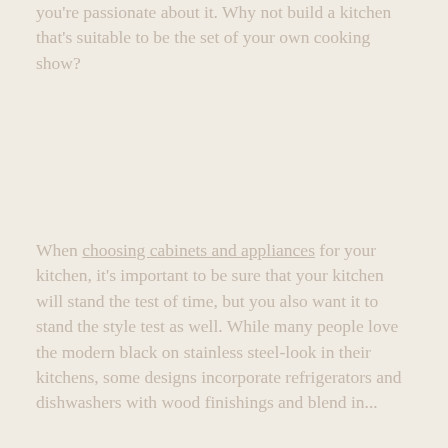you're passionate about it. Why not build a kitchen that's suitable to be the set of your own cooking show?
When choosing cabinets and appliances for your kitchen, it's important to be sure that your kitchen will stand the test of time, but you also want it to stand the style test as well. While many people love the modern black on stainless steel-look in their kitchens, some designs incorporate refrigerators and dishwashers with wood finishings and blend in...